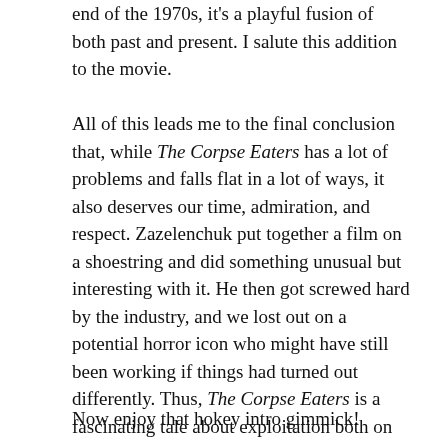end of the 1970s, it's a playful fusion of both past and present. I salute this addition to the movie.
All of this leads me to the final conclusion that, while The Corpse Eaters has a lot of problems and falls flat in a lot of ways, it also deserves our time, admiration, and respect. Zazelenchuk put together a film on a shoestring and did something unusual but interesting with it. He then got screwed hard by the industry, and we lost out on a potential horror icon who might have still been working if things had turned out differently. Thus, The Corpse Eaters is a fascinating tale about exploitation both on the screen and behind it, and it's a movie that should get far more attention than it unfortunately does.
Now enjoy that hokey intro gimmick!